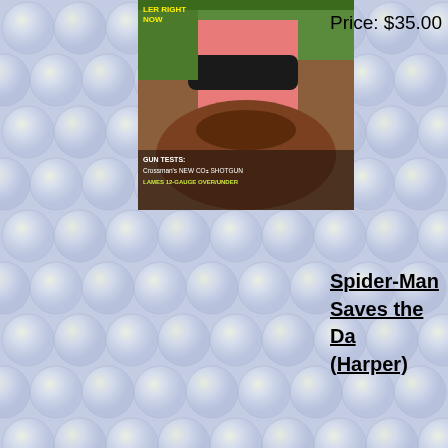[Figure (photo): Magazine cover showing a person on horseback holding a gun, with text 'GUN TESTS: Crossman's NEW CO2 SHOTGUN LAMES 12-GAUGE OVER/UNDER']
Price: $35.00
Spider-Man Saves the Da (Harper)
Price: $15.00